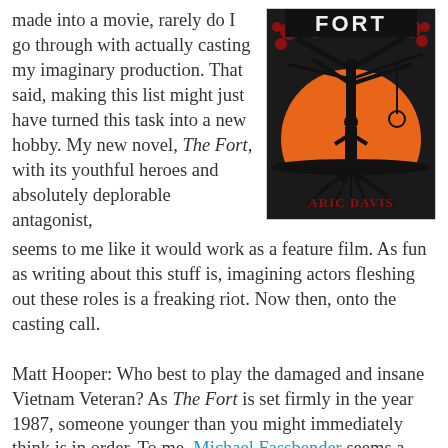made into a movie, rarely do I go through with actually casting my imaginary production. That said, making this list might just have turned this task into a new hobby. My new novel, The Fort, with its youthful heroes and absolutely deplorable antagonist, seems to me like it would work as a feature film. As fun as writing about this stuff is, imagining actors fleshing out these roles is a freaking riot. Now then, onto the casting call.
[Figure (illustration): Book cover of 'The Fort' by Aric Davis showing a dark tree silhouette with a hanging noose against an orange sunset, with a human figure silhouette]
Matt Hooper: Who best to play the damaged and insane Vietnam Veteran? As The Fort is set firmly in the year 1987, someone younger than you might immediately think is in order. To me, Michael Fassbender seems a good fit. I think he could do crazy well, and his growing resume in